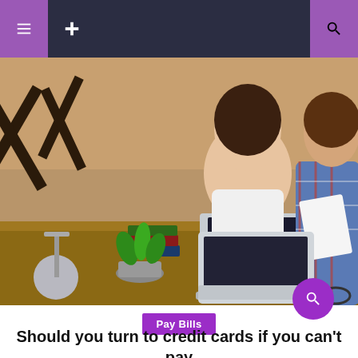Navigation header with menu icons
[Figure (photo): A stressed couple sitting at a desk looking at bills and a laptop. A woman with brown hair rests her chin on her hand looking worried, while a man in a plaid shirt holds a document. A small potted plant, stacked books, and a desk lamp are visible in the background.]
Pay Bills
Should you turn to credit cards if you can't pay the bills?